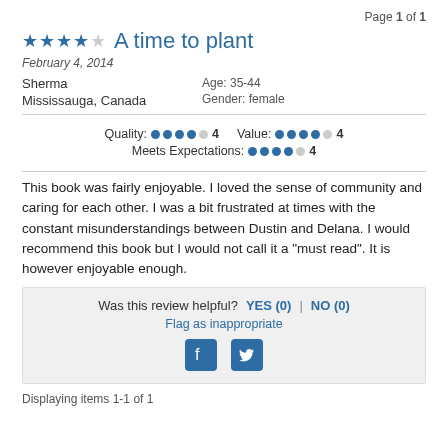Page 1 of 1
★★★★☆  A time to plant
February 4, 2014
Sherma
Mississauga, Canada
Age: 35-44
Gender: female
Quality: ●●●●○ 4   Value: ●●●●○ 4   Meets Expectations: ●●●●○ 4
This book was fairly enjoyable. I loved the sense of community and caring for each other. I was a bit frustrated at times with the constant misunderstandings between Dustin and Delana. I would recommend this book but I would not call it a "must read". It is however enjoyable enough.
Was this review helpful? YES (0) | NO (0)
Flag as inappropriate
Displaying items 1-1 of 1